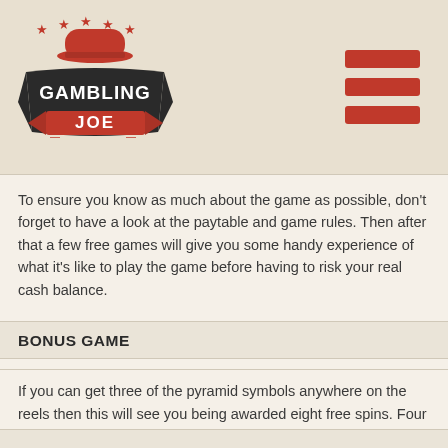[Figure (logo): Gambling Joe logo with cowboy hat, stars, and banner text. Red hat, dark banner with 'GAMBLING JOE' text.]
To ensure you know as much about the game as possible, don't forget to have a look at the paytable and game rules. Then after that a few free games will give you some handy experience of what it's like to play the game before having to risk your real cash balance.
BONUS GAME
If you can get three of the pyramid symbols anywhere on the reels then this will see you being awarded eight free spins. Four takes that up to 15 and five will see you playing with a fantastic 100 free spins. The fact they can appear anywhere on the reels means you don't have to keep activating all the paylines to be in with a chance of getting into the bonus game.